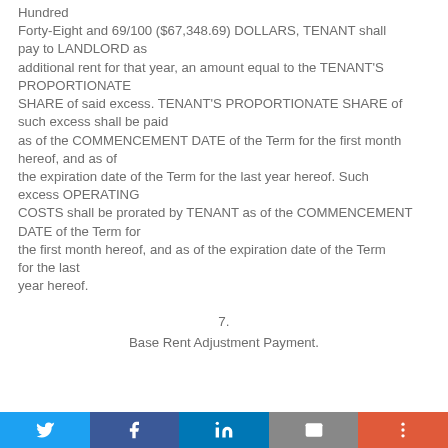Hundred Forty-Eight and 69/100 ($67,348.69) DOLLARS, TENANT shall pay to LANDLORD as additional rent for that year, an amount equal to the TENANT'S PROPORTIONATE SHARE of said excess. TENANT'S PROPORTIONATE SHARE of such excess shall be paid as of the COMMENCEMENT DATE of the Term for the first month hereof, and as of the expiration date of the Term for the last year hereof. Such excess OPERATING COSTS shall be prorated by TENANT as of the COMMENCEMENT DATE of the Term for the first month hereof, and as of the expiration date of the Term for the last year hereof.
7.
Base Rent Adjustment Payment.